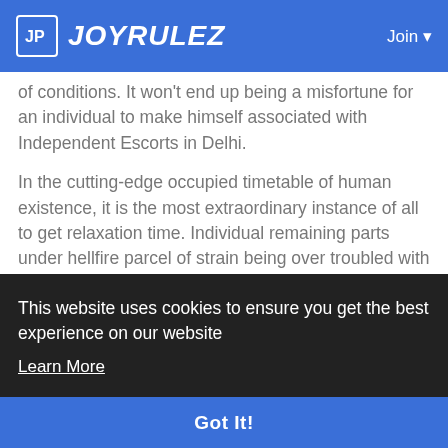JOYRULEZ | Join
of conditions. It won't end up being a misfortune for an individual to make himself associated with Independent Escorts in Delhi.
In the cutting-edge occupied timetable of human existence, it is the most extraordinary instance of all to get relaxation time. Individual remaining parts under hellfire parcel of strain being over troubled with responsibility. Regularly it is observed that he loses
This website uses cookies to ensure you get the best experience on our website
Learn More
Got It!
engaging with excellent provocative people